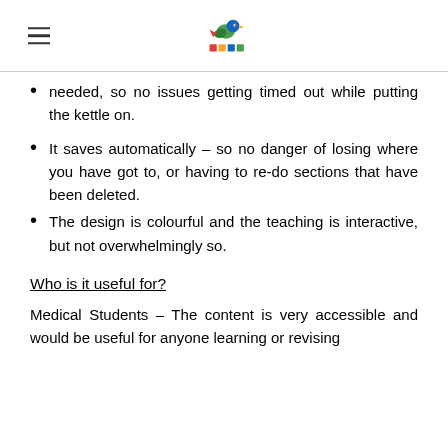[hamburger menu icon] [bird logo]
needed, so no issues getting timed out while putting the kettle on.
It saves automatically – so no danger of losing where you have got to, or having to re-do sections that have been deleted.
The design is colourful and the teaching is interactive, but not overwhelmingly so.
Who is it useful for?
Medical Students – The content is very accessible and would be useful for anyone learning or revising